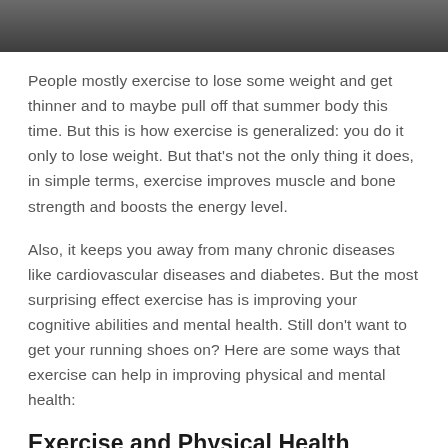[Figure (photo): Partial view of a person exercising, dark background, cropped at top of page]
People mostly exercise to lose some weight and get thinner and to maybe pull off that summer body this time. But this is how exercise is generalized: you do it only to lose weight. But that's not the only thing it does, in simple terms, exercise improves muscle and bone strength and boosts the energy level.
Also, it keeps you away from many chronic diseases like cardiovascular diseases and diabetes. But the most surprising effect exercise has is improving your cognitive abilities and mental health. Still don't want to get your running shoes on? Here are some ways that exercise can help in improving physical and mental health:
Exercise and Physical Health